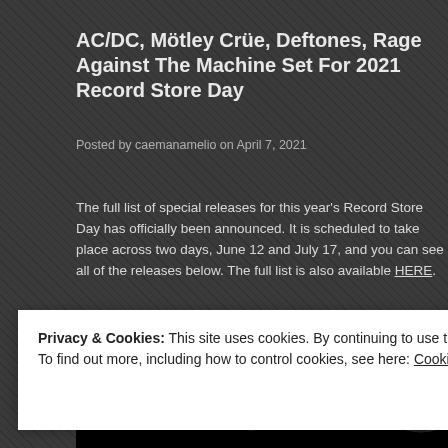AC/DC, Mötley Crüe, Deftones, Rage Against The Machine Set For 2021 Record Store Day
Posted by camanamelio on April 7, 2021
The full list of special releases for this year's Record Store Day has officially been announced. It is scheduled to take place across two days, June 12 and July 17, and you can see all of the releases below. The full list is also available HERE.
[Figure (photo): Record Store Day logo banner with vinyl records visible behind large distressed lettering reading RECORD STORE on a black background]
Privacy & Cookies: This site uses cookies. By continuing to use this website, you agree to their use.
To find out more, including how to control cookies, see here: Cookie Policy
Close and accept